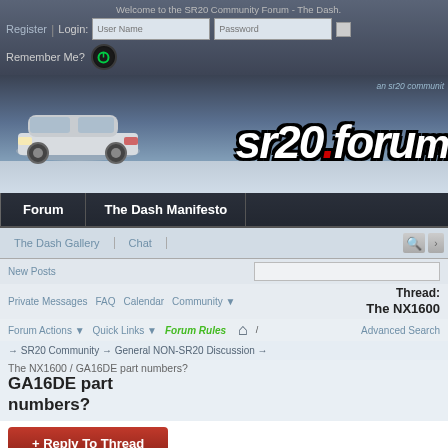Welcome to the SR20 Community Forum - The Dash.
Register | Login: User Name Password [checkbox] Remember Me?
[Figure (screenshot): SR20 forum banner with white Nissan car and sr20.forum logo with red dot]
Forum | The Dash Manifesto
The Dash Gallery | Chat
New Posts | [search bar]
Private Messages | FAQ | Calendar | Community ▼   Thread: The NX1600
Forum Actions ▼ | Quick Links ▼ | Forum Rules | Advanced Search
→ SR20 Community → General NON-SR20 Discussion →
The NX1600 / GA16DE part numbers?
+ Reply To Thread
Search Thread   Posts: 1-9 of 9